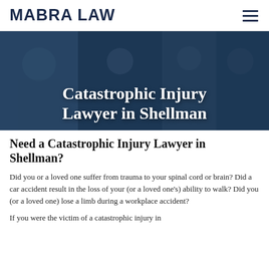MABRA LAW
[Figure (photo): Hero banner with collage of people in various settings overlaid with dark blue tint]
Catastrophic Injury Lawyer in Shellman
Need a Catastrophic Injury Lawyer in Shellman?
Did you or a loved one suffer from trauma to your spinal cord or brain? Did a car accident result in the loss of your (or a loved one's) ability to walk? Did you (or a loved one) lose a limb during a workplace accident?
If you were the victim of a catastrophic injury in